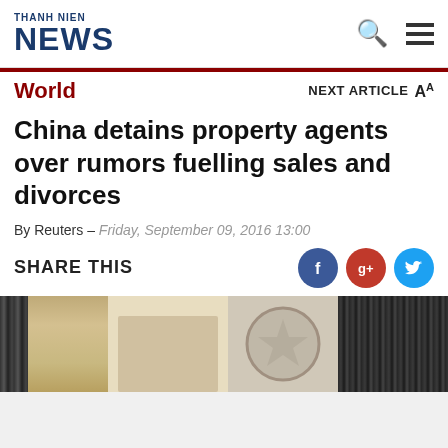THANH NIEN NEWS
World
NEXT ARTICLE A
China detains property agents over rumors fuelling sales and divorces
By Reuters – Friday, September 09, 2016 13:00
SHARE THIS
[Figure (photo): Photograph showing buildings and architecture – property related image for article about China detaining property agents]